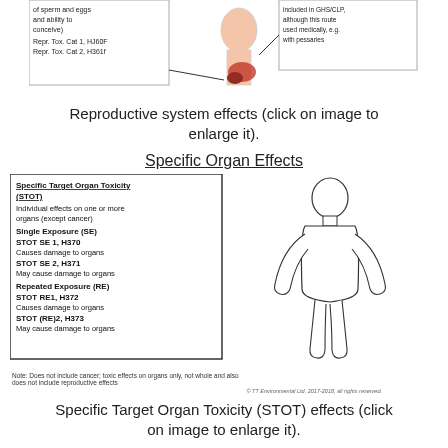[Figure (illustration): Diagram of reproductive system effects showing anatomy with labels about sperm and eggs, ability to conceive, Repr. Tox. Cat 1 H360F, Repr. Tox. Cat 2 H361f, and a note about vaginal route included in GHS/CLP used medically e.g. with pessaries]
Reproductive system effects (click on image to enlarge it).
Specific Organ Effects
[Figure (illustration): Diagram showing Specific Target Organ Toxicity (STOT) box with categories: Single Exposure (SE): STOT SE 1 H370 Causes damage to organs, STOT SE 2 H371 May cause damage to organs; Repeated Exposure (RE): STOT RE1 H372 Causes damage to organs, STOT (RE)2 H373 May cause damage to organs. Next to it is an outline illustration of a human body (front view).]
Note: Does not include cancer; toxic effects on organs only, not whole and also does not include reproductive effects
Specific Target Organ Toxicity (STOT) effects (click on image to enlarge it).